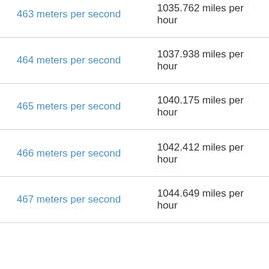| meters per second | miles per hour |
| --- | --- |
| 463 meters per second | 1035.762 miles per hour |
| 464 meters per second | 1037.938 miles per hour |
| 465 meters per second | 1040.175 miles per hour |
| 466 meters per second | 1042.412 miles per hour |
| 467 meters per second | 1044.649 miles per hour |